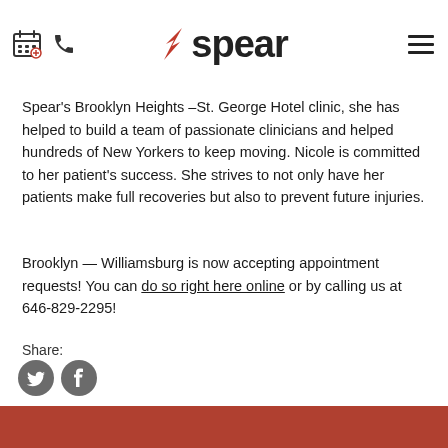Spear
Spear's Brooklyn Heights –St. George Hotel clinic, she has helped to build a team of passionate clinicians and helped hundreds of New Yorkers to keep moving. Nicole is committed to her patient's success. She strives to not only have her patients make full recoveries but also to prevent future injuries.
Brooklyn — Williamsburg is now accepting appointment requests! You can do so right here online or by calling us at 646-829-2295!
Share:
[Figure (other): Twitter and Facebook social share icon buttons (grey circles with bird and f logos)]